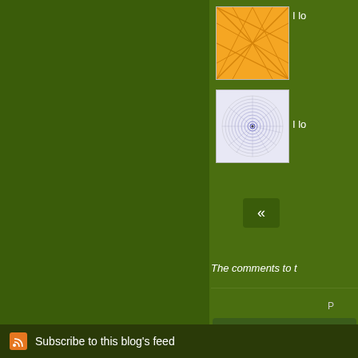[Figure (screenshot): Blog sidebar with thumbnail images, navigation button, comments closed notice, recent comments section, and RSS feed footer on a green background]
[Figure (illustration): Orange geometric/network pattern thumbnail image]
[Figure (illustration): Spiral circular pattern thumbnail image in black and white]
«
The comments to t
P
creative play... i ju shop and i wanted wanted to play! i lo
Subscribe to this blog's feed